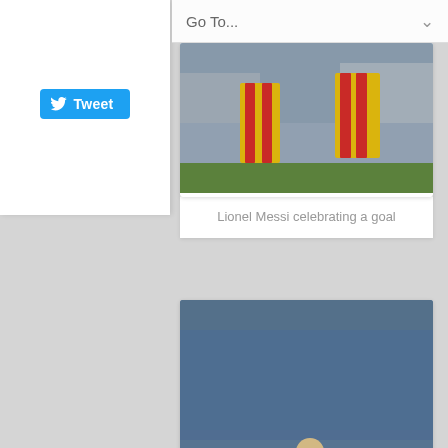Go To...
[Figure (screenshot): Twitter Tweet button widget, blue rounded button with bird icon and 'Tweet' text]
[Figure (photo): Lionel Messi celebrating a goal, wearing yellow and red striped FC Barcelona away kit, partial view of players]
Lionel Messi celebrating a goal
[Figure (photo): Lionel Messi scoring a penalty kick, wearing yellow and red striped FC Barcelona away kit, crowd in background, stadium setting]
Lionel Messi scoring a penalty kick
‹ Previous
Next ›
About The Author